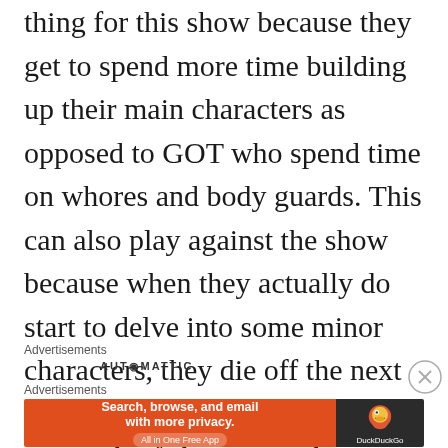thing for this show because they get to spend more time building up their main characters as opposed to GOT who spend time on whores and body guards. This can also play against the show because when they actually do start to delve into some minor characters, they die off the next episode. The characters do a great job of showing us how easy it is to lose ones humanity when faced with such dire consequences as they are that you really begin to feel that they are the real monsters compared to the zombies that populate the land.
Advertisements
AUTOMATTIC
Advertisements
[Figure (screenshot): DuckDuckGo advertisement banner: orange left panel with text 'Search, browse, and email with more privacy. All in One Free App' and dark right panel with DuckDuckGo logo and text.]